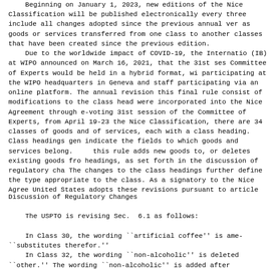Beginning on January 1, 2023, new editions of the Nice Classification will be published electronically every three years, to include all changes adopted since the previous annual version, such as goods or services transferred from one class to another, or new classes that have been created since the previous edition.
    Due to the worldwide impact of COVID-19, the International Bureau (IB) at WIPO announced on March 16, 2021, that the 31st session of the Committee of Experts would be held in a hybrid format, with some experts participating at the WIPO headquarters in Geneva and staff and others participating via an online platform. The annual revisions adopted in this final rule consist of modifications to the class headings that were incorporated into the Nice Agreement through e-voting during the 31st session of the Committee of Experts, from April 19-23, 2021. In the Nice Classification, there are 34 classes of goods and 11 classes of services, each with a class heading. Class headings generally indicate the fields to which goods and services belong. Specifically, this rule adds new goods to, or deletes existing goods from, class headings, as set forth in the discussion of regulatory changes below. The changes to the class headings further define the types of goods appropriate to the class. As a signatory to the Nice Agreement, the United States adopts these revisions pursuant to article 3.
Discussion of Regulatory Changes
The USPTO is revising Sec.  6.1 as follows:
In Class 30, the wording ``artificial coffee'' is amended and ``substitutes therefor.''
    In Class 32, the wording ``non-alcoholic'' is deleted and ``other.'' The wording ``non-alcoholic'' is added after